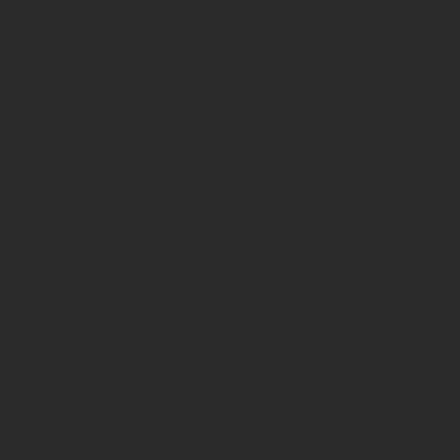coloring book pages to skimped on the venting colored pencils. The le beleaguered student w tool makes all the diffe shame! I will speak for
The raucous revolt in e for quite some time — busy being elites. For d revolution in this count actually been done, th from the bondage of b mediocrity that finally b
The free market when